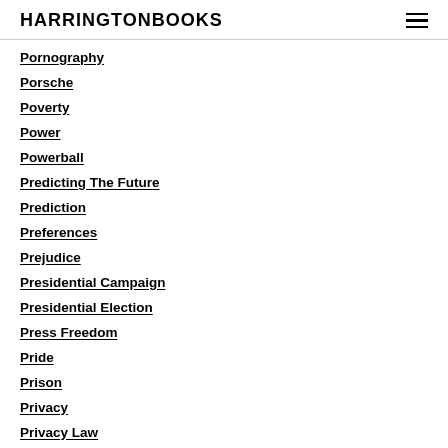HARRINGTONBOOKS
Pornography
Porsche
Poverty
Power
Powerball
Predicting The Future
Prediction
Preferences
Prejudice
Presidential Campaign
Presidential Election
Press Freedom
Pride
Prison
Privacy
Privacy Law